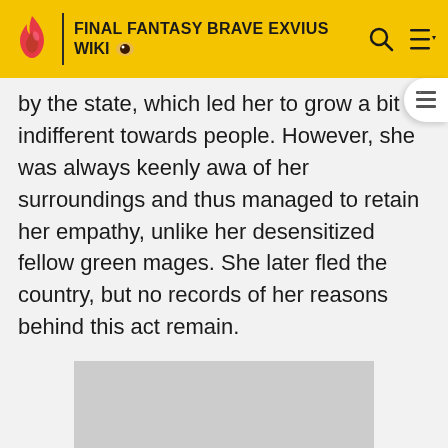FINAL FANTASY BRAVE EXVIUS WIKI
by the state, which led her to grow a bit indifferent towards people. However, she was always keenly aware of her surroundings and thus managed to retain her empathy, unlike her desensitized fellow green mages. She later fled the country, but no records of her reasons behind this act remain.
[Figure (photo): Gray placeholder image rectangle]